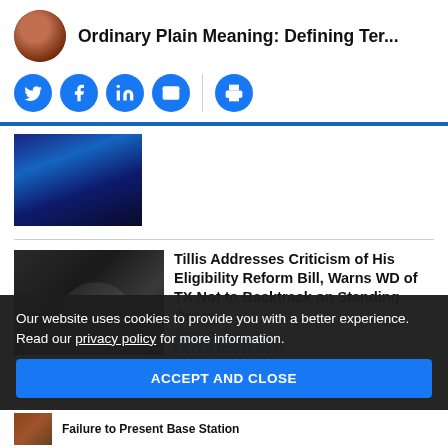Ordinary Plain Meaning: Defining Ter...
[Figure (screenshot): Website screenshot showing social media share buttons (Twitter, Facebook, LinkedIn, Email, Print) as blue circles]
[Figure (photo): Dark blue draped fabric or curtain photo]
[Figure (photo): Photo of man in suit at hearing table, Tillis article thumbnail]
Tillis Addresses Criticism of His Eligibility Reform Bill, Warns WD of TX Not to Backtrack on Standing Order
GENE QUINN
EILEEN MCDERMOTT
AUGUST 31, 2022
Our website uses cookies to provide you with a better experience. Read our privacy policy for more information.
ACCEPT AND CLOSE
Failure to Present Base Station